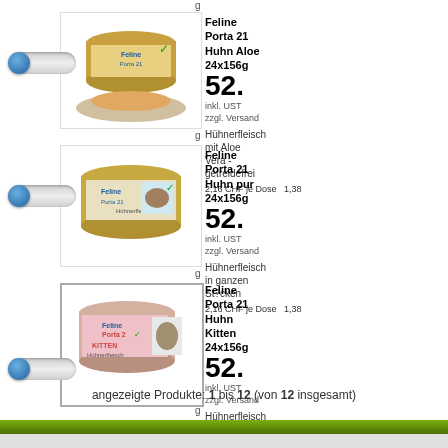[Figure (photo): Product card: Feline Porta 21 Huhn Aloe 24x156g - can of cat food with cat food on plate]
Feline Porta 21 Huhn Aloe 24x156g - Hühnerfleisch mit Aloe Vera - getreidefrei - 2,16 CHF je Dose - inkl. UST zzgl. Versand - 1,38 - 24 x 156 g
[Figure (photo): Product card: Feline Porta 21 Huhn pur 24x156g - can of cat food]
Feline Porta 21 Huhn pur 24x156g - Hühnerfleisch in ganzen St?cken - 2,16 CHF je Dose - inkl. UST zzgl. Versand - 1,38 - 24 x 156 g
[Figure (photo): Product card: Feline Porta 21 Huhn Kitten 24x156g - can of kitten cat food]
Feline Porta 21 Huhn Kitten 24x156g - Hühnerfleisch mit Reis - KITTEN - 2,16 CHF je Dose - inkl. UST zzgl. Versand - 1,38 - 24 x 156 g
angezeigte Produkte: 1 bis 12 (von 12 insgesamt)